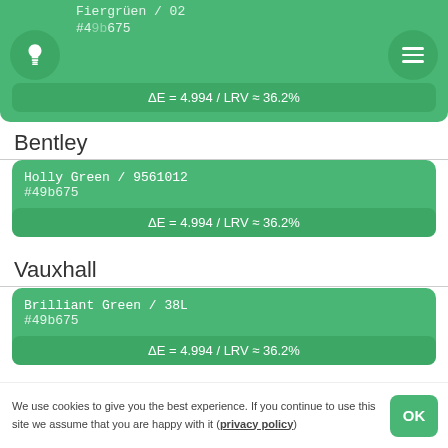Fiergruen / 02
#49b675
ΔE = 4.994 / LRV ≈ 36.2%
Bentley
Holly Green / 9561012
#49b675
ΔE = 4.994 / LRV ≈ 36.2%
Vauxhall
Brilliant Green / 38L
#49b675
ΔE = 4.994 / LRV ≈ 36.2%
Honda
Aurora Green / G18
#49b675
ΔE = 4.994 / LRV ≈ 36.2%
We use cookies to give you the best experience. If you continue to use this site we assume that you are happy with it (privacy policy)